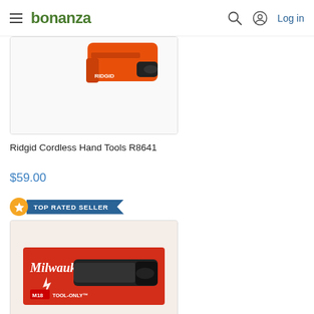bonanza — Log in
[Figure (photo): Partial view of a Ridgid cordless hand tool (orange power tool) on white background]
Ridgid Cordless Hand Tools R8641
$59.00
TOP RATED SELLER
[Figure (photo): Milwaukee M18 Cordless Reciprocating Saw (SAWZALL) in red box packaging, Tool-Only model]